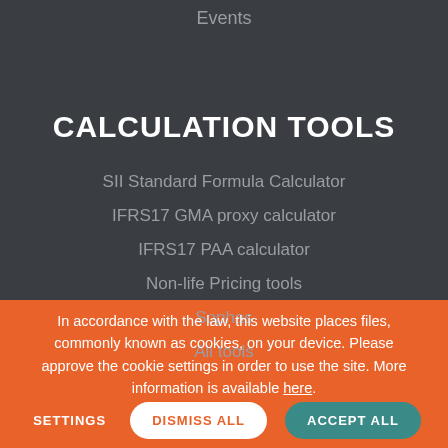Events
CALCULATION TOOLS
SII Standard Formula Calculator
IFRS17 GMA proxy calculator
IFRS17 PAA calculator
Non-life Pricing tools
Sophas
All tools
In accordance with the law, this website places files, commonly known as cookies, on your device. Please approve the cookie settings in order to use the site. More information is available here.
SETTINGS   DISMISS ALL   ACCEPT ALL